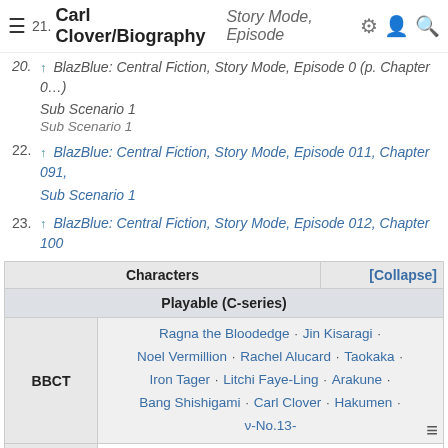Carl Clover/Biography
20. ↑ BlazBlue: Central Fiction, Story Mode, Episode 0 (p. Chapter 0…) Sub Scenario 1
21. Carl Clover/Biography Story Mode, Episode 0…, Chapter 0… Sub Scenario 1
22. ↑ BlazBlue: Central Fiction, Story Mode, Episode 011, Chapter 091, Sub Scenario 1
23. ↑ BlazBlue: Central Fiction, Story Mode, Episode 012, Chapter 100
| Characters | [Collapse] |
| --- | --- |
| Playable (C-series) |  |
| BBCT | Ragna the Bloodedge · Jin Kisaragi · Noel Vermillion · Rachel Alucard · Taokaka · Iron Tager · Litchi Faye-Ling · Arakune · Bang Shishigami · Carl Clover · Hakumen · ν-No.13- |
| BBCS | Tsubaki Yayoi · Hazama · μ-No.12- · Makoto Nanaya · Valkenhayn R. Hellsing · Platinum the Trinity · Relius Clover |
| BBCP | Izayoi · Amane Nishiki · Bullet · Azrael · Kagura Mutsuki · Yuuki Terumi · Kokonoe · Celica A. Mercury · λ-No.11- |